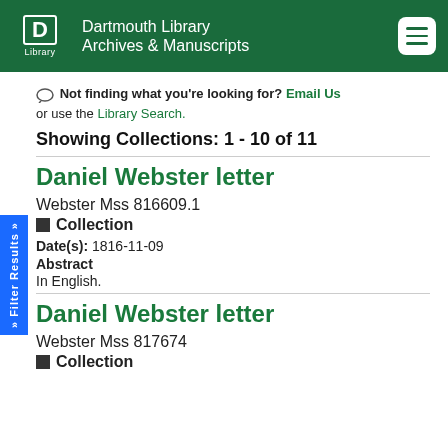Dartmouth Library Archives & Manuscripts
Not finding what you're looking for? Email Us or use the Library Search.
Showing Collections: 1 - 10 of 11
Daniel Webster letter
Webster Mss 816609.1
Collection
Date(s): 1816-11-09
Abstract
In English.
Daniel Webster letter
Webster Mss 817674
Collection